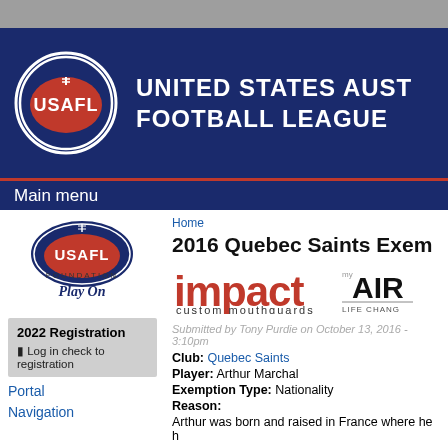UNITED STATES AUST FOOTBALL LEAGUE
Main menu
[Figure (logo): USAFL Foundation Play On logo]
2022 Registration
Log in check to registration
Portal
Navigation
Home
2016 Quebec Saints Exem
[Figure (logo): Impact custom mouthguards logo]
[Figure (logo): myAIR Life Changing logo]
Submitted by Tony Purdie on October 13, 2016 - 3:10pm
Club: Quebec Saints
Player: Arthur Marchal
Exemption Type: Nationality
Reason:
Arthur was born and raised in France where he h